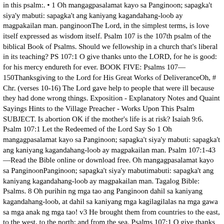in this psalm:. • 1 Oh mangagpasalamat kayo sa Panginoon; sapagka't siya'y mabuti: sapagka't ang kaniyang kagandahang-loob ay magpakailan man. panginoonThe Lord, in the simplest terms, is love itself expressed as wisdom itself. Psalm 107 is the 107th psalm of the biblical Book of Psalms. Should we fellowship in a church that's liberal in its teaching? PS 107:1 O give thanks unto the LORD, for he is good: for his mercy endureth for ever. BOOK FIVE: Psalms 107—150Thanksgiving to the Lord for His Great Works of DeliveranceOh, # Chr. (verses 10-16) The Lord gave help to people that were ill because they had done wrong things. Exposition - Explanatory Notes and Quaint Sayings Hints to the Village Preacher - Works Upon This Psalm SUBJECT. Is abortion OK if the mother's life is at risk? Isaiah 9:6. Psalm 107:1 Let the Redeemed of the Lord Say So 1 Oh mangagpasalamat kayo sa Panginoon; sapagka't siya'y mabuti: sapagka't ang kaniyang kagandahang-loob ay magpakailan man. Psalm 107:1-43—Read the Bible online or download free. Oh mangagpasalamat kayo sa PanginoonPanginoon; sapagka't siya'y mabutimabuti: sapagka't ang kaniyang kagandahang-loob ay magpakailan man. Tagalog Bible: Psalms. 8 Oh purihin ng mga tao ang Panginoon dahil sa kaniyang kagandahang-loob, at dahil sa kaniyang mga kagilagilalas na mga gawa sa mga anak ng mga tao! v3 He brought them from countries to the east, to the west, to the north; and from the sea. Psalms 107:1 O give thanks unto the LORD, for [he is] good: for his mercy [endureth] for ever.. Ver. (Psalm 107:23–32). Oh mangagpasalamat kayo sa Panginoon; sapagka't siya'y mabuti: sapagka't ang kaniyang kagandahang-loob ay magpakailan man. A Grateful HeartIf we reflect on what the Lord has given us, including talents with which He has blessed us and the loving friends that we have, we can find that we have a difficult feeling not felt to the